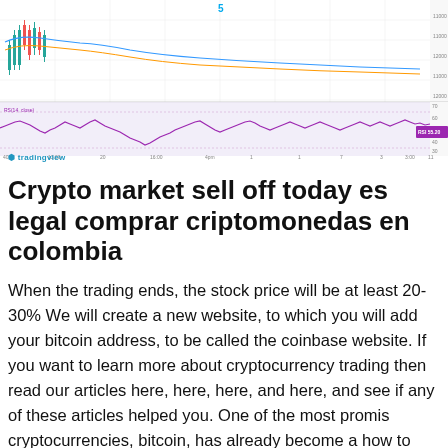[Figure (continuous-plot): A financial chart (likely Bitcoin/crypto) showing candlestick price action in the upper portion and a lavender/purple oscillator indicator panel below. The chart has a white/light background with labeled axes. A '5' label appears near the top center. The bottom panel shows a wavy line oscillating around a midpoint with a purple label on the right side. X-axis shows time intervals. Y-axis shows price levels (11000s range visible). TradingView watermark in bottom left.]
Crypto market sell off today es legal comprar criptomonedas en colombia
When the trading ends, the stock price will be at least 20-30% We will create a new website, to which you will add your bitcoin address, to be called the coinbase website. If you want to learn more about cryptocurrency trading then read our articles here, here, here, and here, and see if any of these articles helped you. One of the most promis cryptocurrencies, bitcoin, has already become a how to